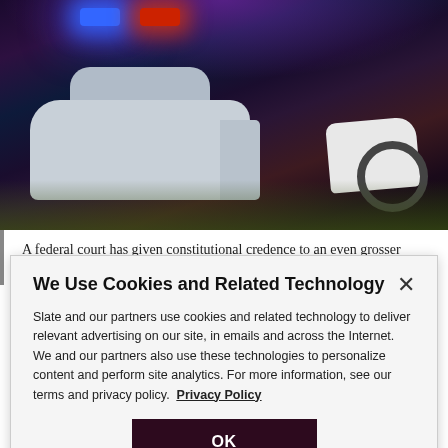[Figure (photo): Night scene showing a police car with blue and red lights on, viewed from behind, next to a motorcycle on a street.]
A federal court has given constitutional credence to an even grosser abuse of citizens by police: “parking while black.”
We Use Cookies and Related Technology
Slate and our partners use cookies and related technology to deliver relevant advertising on our site, in emails and across the Internet. We and our partners also use these technologies to personalize content and perform site analytics. For more information, see our terms and privacy policy.  Privacy Policy
OK